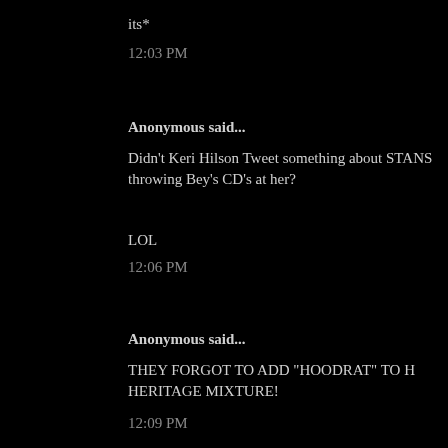its*
12:03 PM
Anonymous said...
Didn't Keri Hilson Tweet something about STANS throwing Bey's CD's at her?
LOL
12:06 PM
Anonymous said...
THEY FORGOT TO ADD "HOODRAT" TO H HERITAGE MIXTURE!
12:09 PM